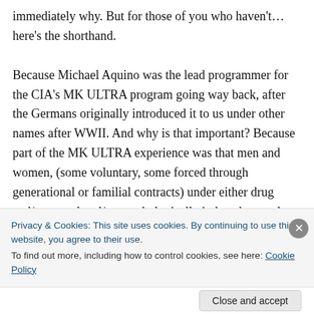immediately why. But for those of you who haven't…here's the shorthand.

Because Michael Aquino was the lead programmer for the CIA's MK ULTRA program going way back, after the Germans originally introduced it to us under other names after WWII. And why is that important? Because part of the MK ULTRA experience was that men and women, (some voluntary, some forced through generational or familial contracts) under either drug and/or sexual and/or psychologically induced control, were taught various skill sets. Some were taught to have sex to gain information
Privacy & Cookies: This site uses cookies. By continuing to use this website, you agree to their use.
To find out more, including how to control cookies, see here: Cookie Policy
Close and accept